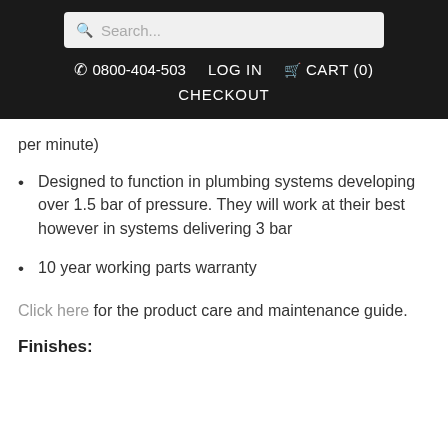Search... | ☎ 0800-404-503  LOG IN  CART (0)  CHECKOUT
per minute)
Designed to function in plumbing systems developing over 1.5 bar of pressure. They will work at their best however in systems delivering 3 bar
10 year working parts warranty
Click here for the product care and maintenance guide.
Finishes: